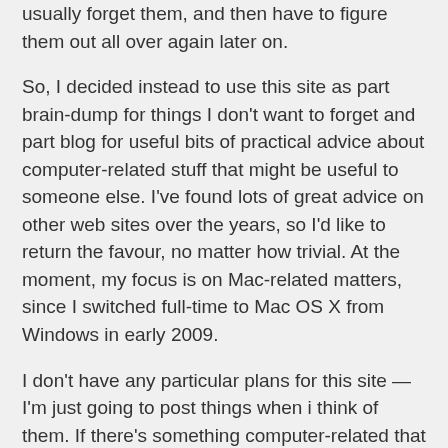usually forget them, and then have to figure them out all over again later on.
So, I decided instead to use this site as part brain-dump for things I don't want to forget and part blog for useful bits of practical advice about computer-related stuff that might be useful to someone else. I've found lots of great advice on other web sites over the years, so I'd like to return the favour, no matter how trivial. At the moment, my focus is on Mac-related matters, since I switched full-time to Mac OS X from Windows in early 2009.
I don't have any particular plans for this site — I'm just going to post things when i think of them. If there's something computer-related that you've always wanted to know how to do though, drop me a line at thegeekguides (at) gmail (dot) com and I'll see what I can do.